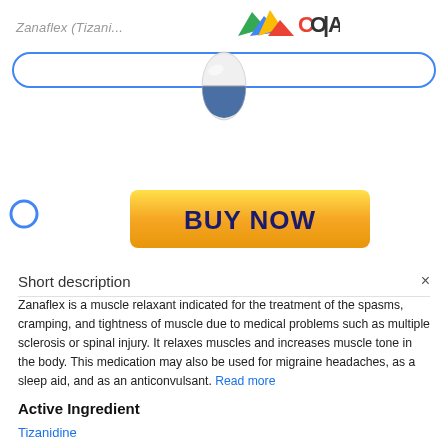Zanaflex (Tizani...
[Figure (logo): Colorful wave logo with COIAI text in red and black]
[Figure (illustration): Blue and white capsule pill illustration]
[Figure (other): Yellow gradient BUY NOW button]
Short description
Zanaflex is a muscle relaxant indicated for the treatment of the spasms, cramping, and tightness of muscle due to medical problems such as multiple sclerosis or spinal injury. It relaxes muscles and increases muscle tone in the body. This medication may also be used for migraine headaches, as a sleep aid, and as an anticonvulsant. Read more
Active Ingredient
Tizanidine